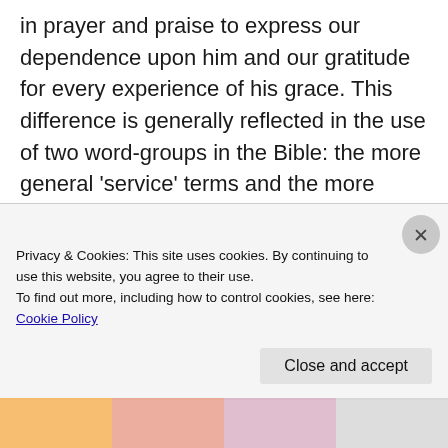in prayer and praise to express our dependence upon him and our gratitude for every experience of his grace. This difference is generally reflected in the use of two word-groups in the Bible: the more general 'service' terms and the more specific language of homage and submission to God (proskyneō and cognates), which is regularly linked to praise. [4] So it might be odd to say to others in
Privacy & Cookies: This site uses cookies. By continuing to use this website, you agree to their use. To find out more, including how to control cookies, see here: Cookie Policy
Close and accept